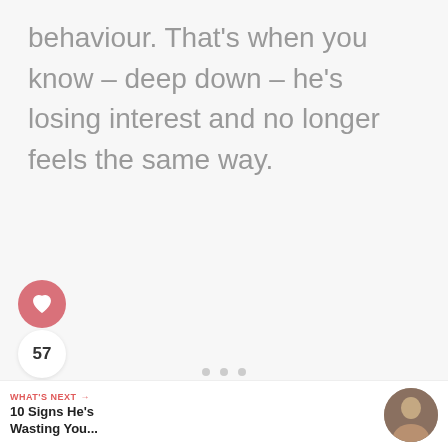behaviour. That's when you know – deep down – he's losing interest and no longer feels the same way.
[Figure (infographic): Social interaction buttons: heart/like button (pink circle with heart icon), like count showing 57, and share button (circle with share icon)]
[Figure (infographic): Three pagination dots in a row]
WHAT'S NEXT → 10 Signs He's Wasting You...